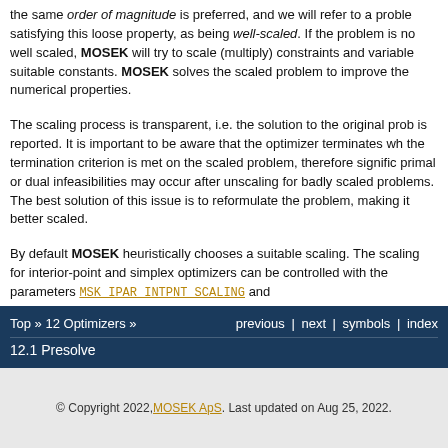the same order of magnitude is preferred, and we will refer to a problem satisfying this loose property, as being well-scaled. If the problem is not well scaled, MOSEK will try to scale (multiply) constraints and variables by suitable constants. MOSEK solves the scaled problem to improve the numerical properties.
The scaling process is transparent, i.e. the solution to the original problem is reported. It is important to be aware that the optimizer terminates when the termination criterion is met on the scaled problem, therefore significant primal or dual infeasibilities may occur after unscaling for badly scaled problems. The best solution of this issue is to reformulate the problem, making it better scaled.
By default MOSEK heuristically chooses a suitable scaling. The scaling for interior-point and simplex optimizers can be controlled with the parameters MSK_IPAR_INTPNT_SCALING and MSK_IPAR_SIM_SCALING respectively.
Top » 12 Optimizers »   previous | next | symbols | index
12.1 Presolve
© Copyright 2022, MOSEK ApS. Last updated on Aug 25, 2022.